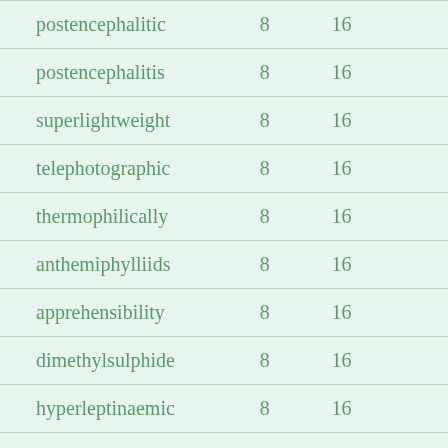| postencephalitic | 8 | 16 |
| postencephalitis | 8 | 16 |
| superlightweight | 8 | 16 |
| telephotographic | 8 | 16 |
| thermophilically | 8 | 16 |
| anthemiphylliids | 8 | 16 |
| apprehensibility | 8 | 16 |
| dimethylsulphide | 8 | 16 |
| hyperleptinaemic | 8 | 16 |